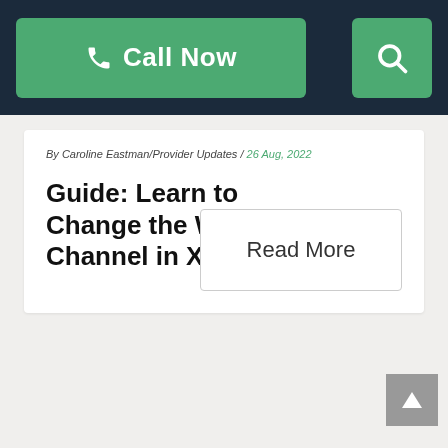Call Now | Search
By Caroline Eastman/Provider Updates / 26 Aug, 2022
Guide: Learn to Change the Wi-Fi Channel in Xfinity xFi
Read More